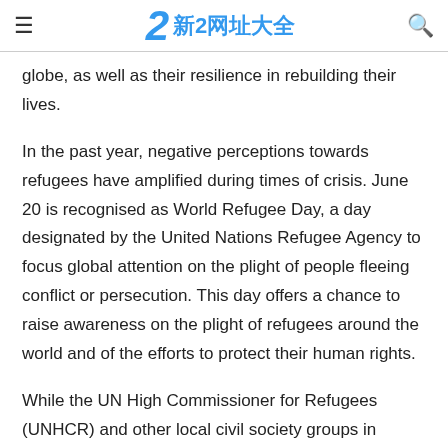新2网址大全
globe, as well as their resilience in rebuilding their lives.
In the past year, negative perceptions towards refugees have amplified during times of crisis. June 20 is recognised as World Refugee Day, a day designated by the United Nations Refugee Agency to focus global attention on the plight of people fleeing conflict or persecution. This day offers a chance to raise awareness on the plight of refugees around the world and of the efforts to protect their human rights.
While the UN High Commissioner for Refugees (UNHCR) and other local civil society groups in Malaysia have always commemorated World Refugee Day with a number of activities to help raise awareness, Malaysian authorities have consistently pursued a number of punitive measures targeting refugees in the country. The problem deeper rooted in our nation is the lack of distinction between refugees and